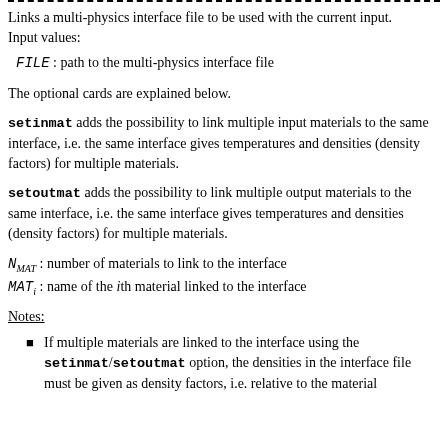Links a multi-physics interface file to be used with the current input. Input values:
FILE : path to the multi-physics interface file
The optional cards are explained below.
setinmat adds the possibility to link multiple input materials to the same interface, i.e. the same interface gives temperatures and densities (density factors) for multiple materials.
setoutmat adds the possibility to link multiple output materials to the same interface, i.e. the same interface gives temperatures and densities (density factors) for multiple materials.
N_MAT : number of materials to link to the interface
MAT_i : name of the ith material linked to the interface
Notes:
If multiple materials are linked to the interface using the setinmat/setoutmat option, the densities in the interface file must be given as density factors, i.e. relative to the material